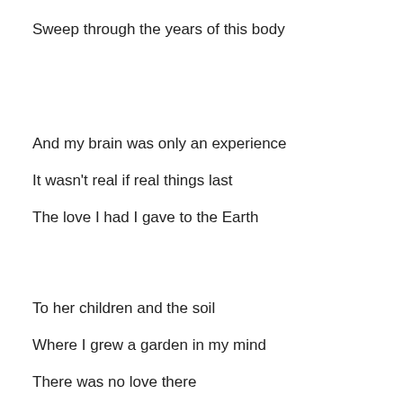Sweep through the years of this body
And my brain was only an experience
It wasn't real if real things last
The love I had I gave to the Earth
To her children and the soil
Where I grew a garden in my mind
There was no love there